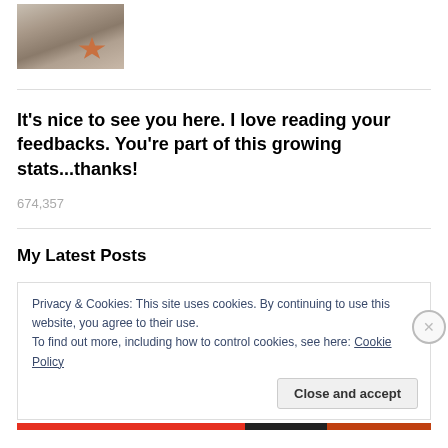[Figure (photo): A small thumbnail photo showing a starfish on a sandy/rocky surface, brownish tones]
It's nice to see you here. I love reading your feedbacks. You're part of this growing stats...thanks!
674,357
My Latest Posts
Privacy & Cookies: This site uses cookies. By continuing to use this website, you agree to their use.
To find out more, including how to control cookies, see here: Cookie Policy
Close and accept